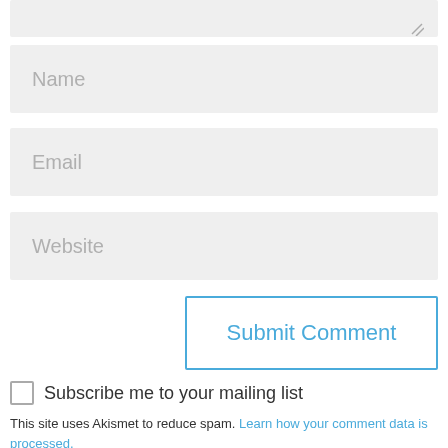[Figure (screenshot): Partial textarea input field (top portion visible with resize handle icon)]
Name
Email
Website
Submit Comment
Subscribe me to your mailing list
This site uses Akismet to reduce spam. Learn how your comment data is processed.